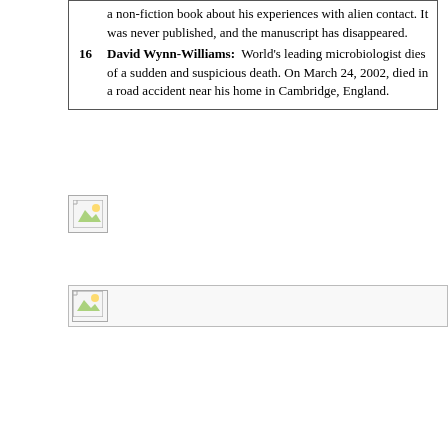a non-fiction book about his experiences with alien contact. It was never published, and the manuscript has disappeared.
16 David Wynn-Williams: World's leading microbiologist dies of a sudden and suspicious death. On March 24, 2002, died in a road accident near his home in Cambridge, England.
[Figure (other): Broken image placeholder icon (small landscape image icon with mountain and sun)]
[Figure (other): Broken image placeholder icon (small landscape image icon with mountain and sun), wide banner format]